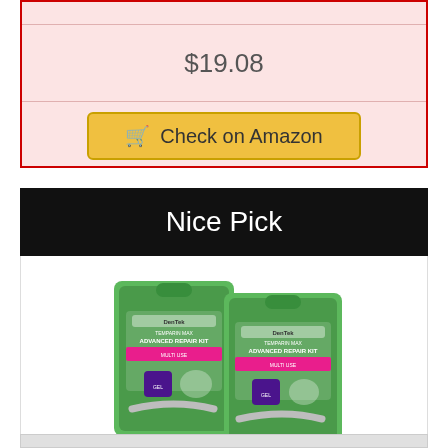$19.08
Check on Amazon
Nice Pick
[Figure (photo): Two packages of DenTek Temparin Max Advanced Repair Kit products side by side on a white background]